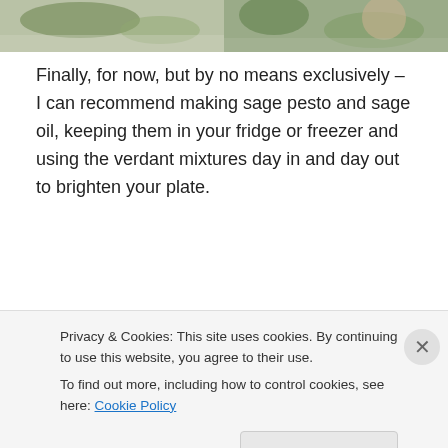[Figure (photo): Two food/herb photos at top of page — left shows herbs/greens on fabric, right shows a glass jar with dark contents and greenery]
Finally, for now, but by no means exclusively – I can recommend making sage pesto and sage oil, keeping them in your fridge or freezer and using the verdant mixtures day in and day out to brighten your plate.
[Figure (photo): Four food photos showing sage pesto and sage oil: green pesto in glass jar (top view), pesto on roasted squash, green oil in small jar with spoon, sage plant with purple flowers]
Sage Tea
Privacy & Cookies: This site uses cookies. By continuing to use this website, you agree to their use.
To find out more, including how to control cookies, see here: Cookie Policy